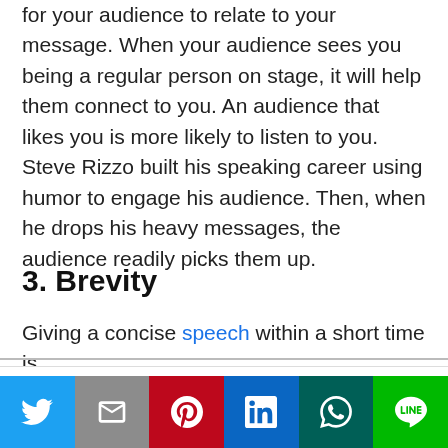for your audience to relate to your message. When your audience sees you being a regular person on stage, it will help them connect to you. An audience that likes you is more likely to listen to you. Steve Rizzo built his speaking career using humor to engage his audience. Then, when he drops his heavy messages, the audience readily picks them up.
3. Brevity
Giving a concise speech within a short time is
This website uses cookies.
[Figure (infographic): Social sharing bar with Twitter, Gmail, Pinterest, LinkedIn, WhatsApp, and LINE buttons]